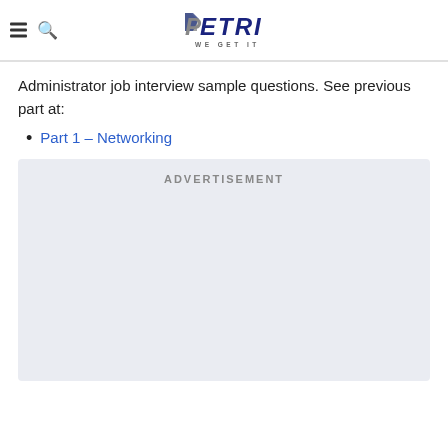PETRI — WE GET IT
Administrator job interview sample questions. See previous part at:
Part 1 – Networking
[Figure (other): ADVERTISEMENT placeholder box with light blue-grey background]